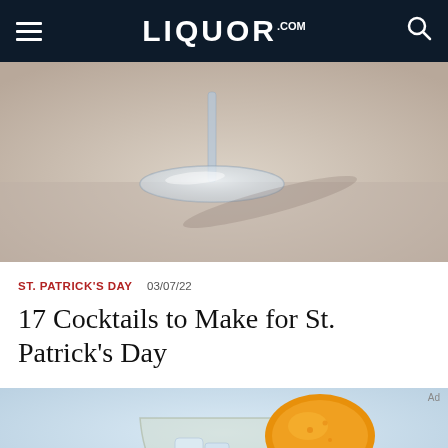LIQUOR.COM
[Figure (photo): Close-up photo of an inverted cocktail glass base/stem on a light surface with shadow]
ST. PATRICK'S DAY  03/07/22
17 Cocktails to Make for St. Patrick's Day
[Figure (photo): Photo of a cocktail glass with ice and an orange peel garnish on a light blue background]
We help people find answers, solve problems and get inspired. Dotdash meredith